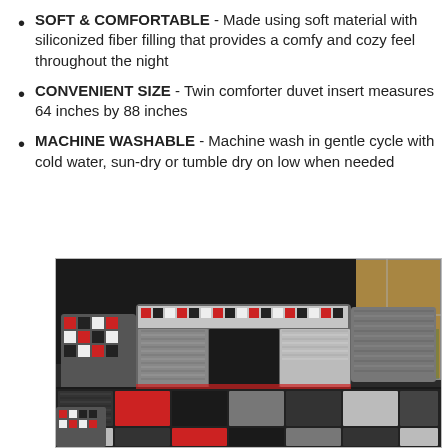SOFT & COMFORTABLE - Made using soft material with siliconized fiber filling that provides a comfy and cozy feel throughout the night
CONVENIENT SIZE - Twin comforter duvet insert measures 64 inches by 88 inches
MACHINE WASHABLE - Machine wash in gentle cycle with cold water, sun-dry or tumble dry on low when needed
[Figure (photo): Photo of a bed with a patchwork comforter and pillows in black, gray, red, and white square patterns, set against a dark headboard with a window in the background showing trees outside.]